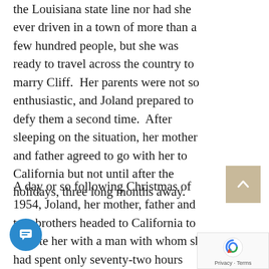the Louisiana state line nor had she ever driven in a town of more than a few hundred people, but she was ready to travel across the country to marry Cliff.  Her parents were not so enthusiastic, and Joland prepared to defy them a second time.  After sleeping on the situation, her mother and father agreed to go with her to California but not until after the holidays, three long months away.
A day or so following Christmas of 1954, Joland, her mother, father and two brothers headed to California to reunite her with a man with whom she had spent only seventy-two hours more than one and a half years earlier. Over several days and 1,750